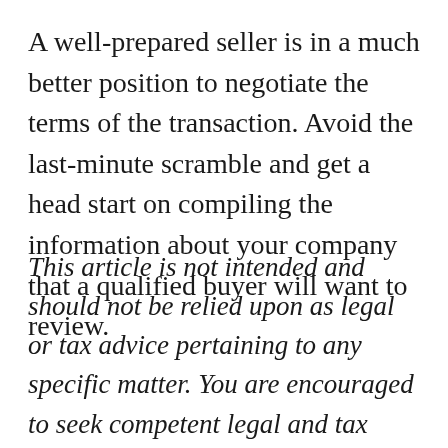A well-prepared seller is in a much better position to negotiate the terms of the transaction. Avoid the last-minute scramble and get a head start on compiling the information about your company that a qualified buyer will want to review.
This article is not intended and should not be relied upon as legal or tax advice pertaining to any specific matter. You are encouraged to seek competent legal and tax counsel before proceeding with any transaction involving any of the